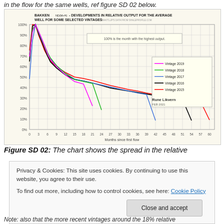in the flow for the same wells, ref figure SD 02 below.
[Figure (line-chart): Line chart showing relative output decline curves for Bakken ND vintage wells from 2015 to 2019. Each vintage peaks near 100% around month 2-3 then declines steeply before flattening. Series: Vintage 2019 (magenta), Vintage 2018 (green), Vintage 2017 (blue), Vintage 2016 (black), Vintage 2015 (red).]
Figure SD 02: The chart shows the spread in the relative
Privacy & Cookies: This site uses cookies. By continuing to use this website, you agree to their use.
To find out more, including how to control cookies, see here: Cookie Policy
Close and accept
Note: also that the more recent vintages around the 18% relative